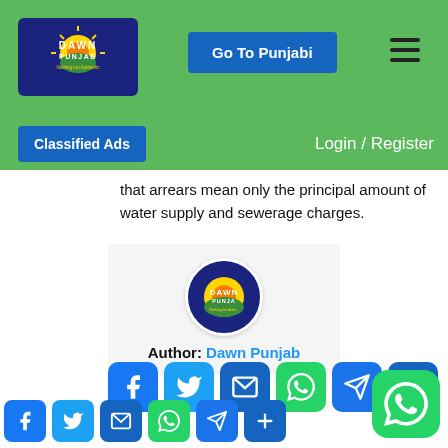[Figure (logo): Dawn Punjab website logo – blue rectangle with sun graphic, DAWN PUNJAB text, 'Nothing but Authentic' tagline]
[Figure (screenshot): Go To Punjabi blue button in green header]
[Figure (screenshot): Hamburger menu icon in header]
[Figure (screenshot): Classified Ads blue button and Login / Register link in nav bar]
that arrears mean only the principal amount of water supply and sewerage charges.
[Figure (logo): Dawn Punjab circular logo with author card – Author: Dawn Punjab]
[Figure (screenshot): Social sharing icons: Facebook, Twitter, Email, WhatsApp, Telegram, More (two rows) and floating WhatsApp button]